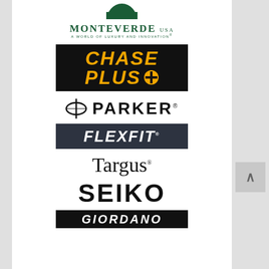[Figure (logo): Monteverde USA logo — dark green semi-circle above stylized text 'MONTEVERDE USA' with tagline 'A WORLD OF LUXURY AND INNOVATION']
[Figure (logo): Chase Plus logo — black background with bold italic orange text 'CHASE' and 'PLUS+' with a cross symbol]
[Figure (logo): Parker pen logo — black crosshair/circle symbol followed by 'PARKER.' text in bold]
[Figure (logo): Flexfit logo — dark navy background with bold white italic 'FLEXFIT.' text]
[Figure (logo): Targus logo — black serif text 'Targus' with registered trademark symbol]
[Figure (logo): Seiko logo — bold black all-caps 'SEIKO' text]
[Figure (logo): Giordano logo — partially visible, black background with white italic text, cut off at bottom of page]